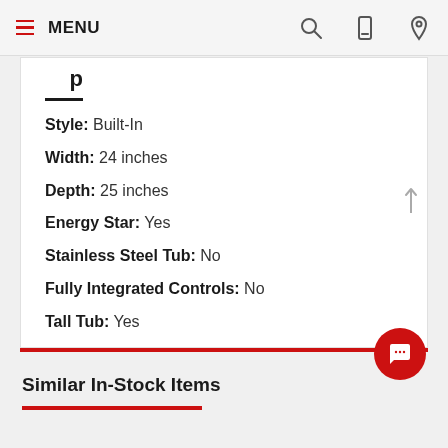MENU
Style: Built-In
Width: 24 inches
Depth: 25 inches
Energy Star: Yes
Stainless Steel Tub: No
Fully Integrated Controls: No
Tall Tub: Yes
Decibel Level: 55.0
Number Of Cycles: 3
Similar In-Stock Items